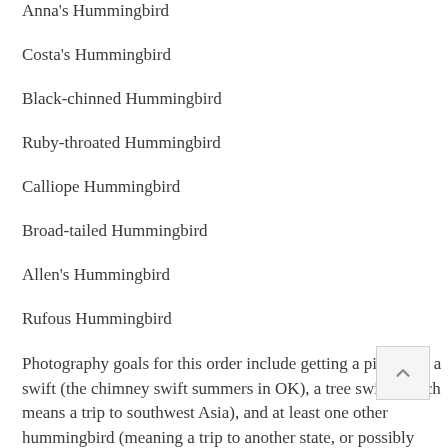Anna's Hummingbird
Costa's Hummingbird
Black-chinned Hummingbird
Ruby-throated Hummingbird
Calliope Hummingbird
Broad-tailed Hummingbird
Allen's Hummingbird
Rufous Hummingbird
Photography goals for this order include getting a picture of a swift (the chimney swift summers in OK), a tree swift (which means a trip to southwest Asia), and at least one other hummingbird (meaning a trip to another state, or possibly close to Central and/or South America).